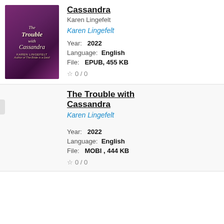[Figure (illustration): Book cover of 'The Trouble with Cassandra' by Karen Lingefelt, purple/violet romantic historical fiction cover with a woman in period dress]
Cassandra
Karen Lingefelt
Karen Lingefelt
Year:  2022
Language:  English
File:  EPUB, 455 KB
☆ 0 / 0
The Trouble with Cassandra
Karen Lingefelt
Year:  2022
Language:  English
File:  MOBI , 444 KB
☆ 0 / 0